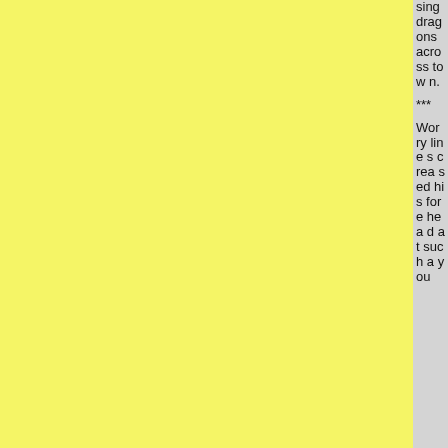sing dragons across town.
***
Worry lines creased his forehead at such a you